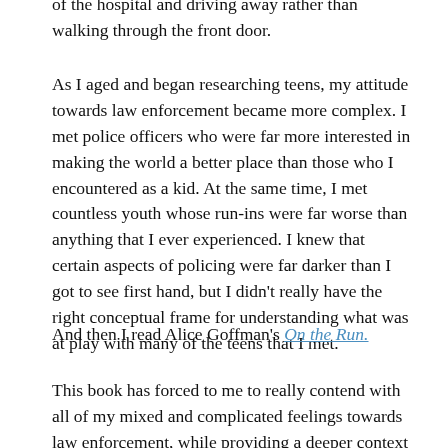of the hospital and driving away rather than walking through the front door.
As I aged and began researching teens, my attitude towards law enforcement became more complex. I met police officers who were far more interested in making the world a better place than those who I encountered as a kid. At the same time, I met countless youth whose run-ins were far worse than anything that I ever experienced. I knew that certain aspects of policing were far darker than I got to see first hand, but I didn't really have the right conceptual frame for understanding what was at play with many of the teens that I met.
And then I read Alice Goffman's On the Run.
This book has forced to me to really contend with all of my mixed and complicated feelings towards law enforcement, while providing a deeper context for my own fieldwork with